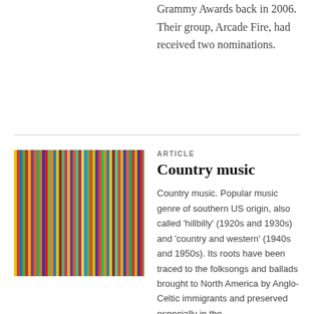Grammy Awards back in 2006. Their group, Arcade Fire, had received two nominations.
[Figure (photo): Close-up photo of colorful vinyl record sleeves or book spines arranged vertically, showing a rainbow of colors with a curved edge visible]
ARTICLE
Country music
Country music. Popular music genre of southern US origin, also called 'hillbilly' (1920s and 1930s) and 'country and western' (1940s and 1950s). Its roots have been traced to the folksongs and ballads brought to North America by Anglo-Celtic immigrants and preserved especially in the